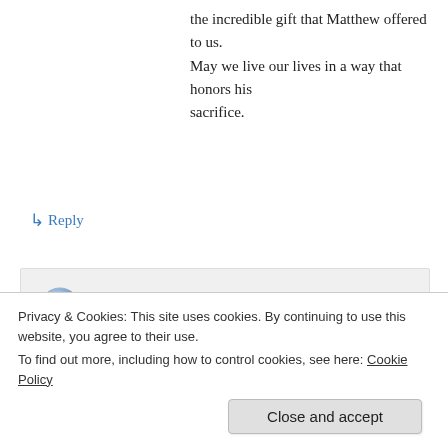the incredible gift that Matthew offered to us. May we live our lives in a way that honors his sacrifice.
↳ Reply
Ono Kono on July 10, 2013 at 1:08 pm
Most definitely he was. Thank you for sharing that!
Privacy & Cookies: This site uses cookies. By continuing to use this website, you agree to their use.
To find out more, including how to control cookies, see here: Cookie Policy